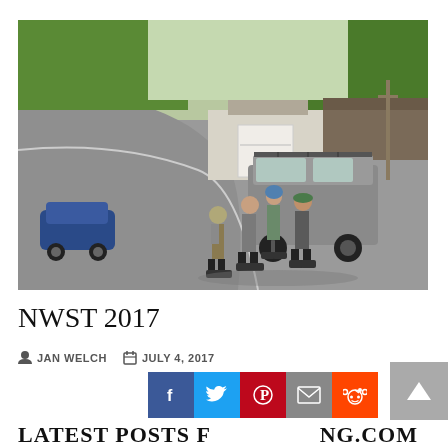[Figure (photo): People on inline skates pushing a van (minivan) up a road. Several skaters lean into the back of a grey minivan with roof rack on a curved road. A blue car is visible on the left. Buildings and green trees are in the background on a sunny day.]
NWST 2017
JAN WELCH   JULY 4, 2017
LATEST POSTS F... ...NG.COM